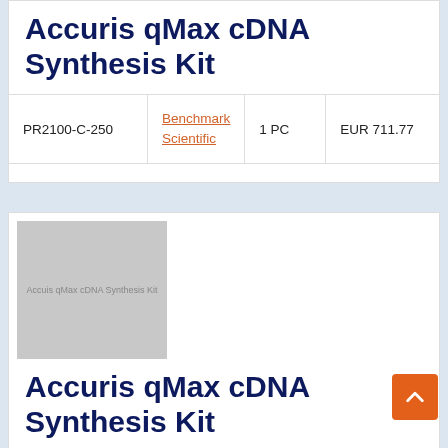Accuris qMax cDNA Synthesis Kit
| SKU | Brand | Qty | Price |
| --- | --- | --- | --- |
| PR2100-C-250 | Benchmark Scientific | 1 PC | EUR 711.77 |
[Figure (photo): Product image placeholder for Accuris qMax cDNA Synthesis Kit, gray rectangle with small label text]
Accuris qMax cDNA Synthesis Kit
| SKU | Brand | Qty | Price |
| --- | --- | --- | --- |
| PR2100-C-S | Benchmark Scientific | 1 PC | EUR 7… |